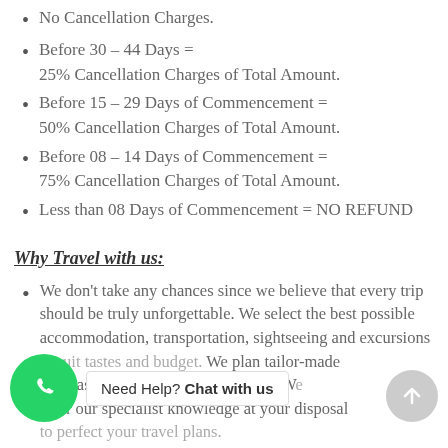No Cancellation Charges.
Before 30 – 44 Days = 25% Cancellation Charges of Total Amount.
Before 15 – 29 Days of Commencement = 50% Cancellation Charges of Total Amount.
Before 08 – 14 Days of Commencement = 75% Cancellation Charges of Total Amount.
Less than 08 Days of Commencement = NO REFUND
Why Travel with us:
We don't take any chances since we believe that every trip should be truly unforgettable. We select the best possible accommodation, transportation, sightseeing and excursions to suit tastes and budget. We plan tailor-made tours as per your exact requirement. We offer our specialist knowledge at your disposal to perfect your travel plans.